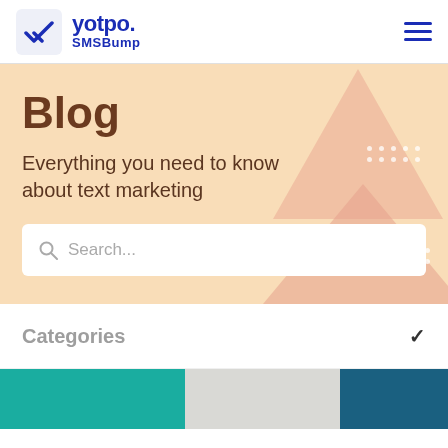yotpo. SMSBump
Blog
Everything you need to know about text marketing
Search...
Categories
[Figure (photo): Teal/turquoise colored image strip showing partial product and person images at the bottom of the page]